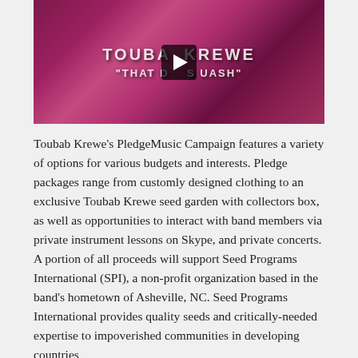[Figure (screenshot): Video thumbnail for Toubab Krewe 'That Damn Squash' with play button overlay on a psychedelic purple/pink floral background]
Toubab Krewe's PledgeMusic Campaign features a variety of options for various budgets and interests. Pledge packages range from customly designed clothing to an exclusive Toubab Krewe seed garden with collectors box, as well as opportunities to interact with band members via private instrument lessons on Skype, and private concerts. A portion of all proceeds will support Seed Programs International (SPI), a non-profit organization based in the band's hometown of Asheville, NC. Seed Programs International provides quality seeds and critically-needed expertise to impoverished communities in developing countries